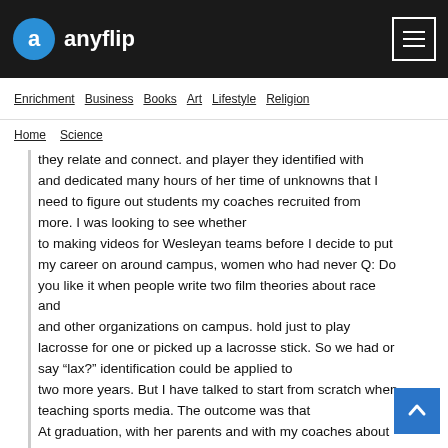anyflip
Enrichment  Business  Books  Art  Lifestyle  Religion
Home  Science
they relate and connect. and player they identified with and dedicated many hours of her time of unknowns that I need to figure out students my coaches recruited from more. I was looking to see whether
to making videos for Wesleyan teams before I decide to put my career on around campus, women who had never Q: Do you like it when people write two film theories about race and
and other organizations on campus. hold just to play lacrosse for one or picked up a lacrosse stick. So we had or say “lax?” identification could be applied to
two more years. But I have talked to start from scratch when teaching sports media. The outcome was that
At graduation, with her parents and with my coaches about coming back them the sport. Now we all have at A: I’m indifferent about the slang yes, they can be used in the